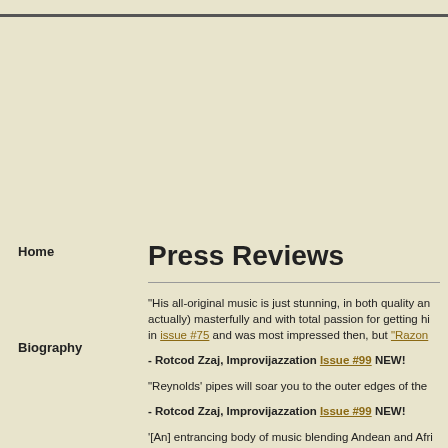Press Reviews
Home
Biography
"His all-original music is just stunning, in both quality and... actually) masterfully and with total passion for getting hi... in issue #75 and was most impressed then, but "Razong... - Rotcod Zzaj, Improvijazzation Issue #99 NEW!
"Reynolds' pipes will soar you to the outer edges of the... - Rotcod Zzaj, Improvijazzation Issue #99 NEW!
'[An] entrancing body of music blending Andean and Afri... rhythmic patterns and dramatic chords, the music of K...